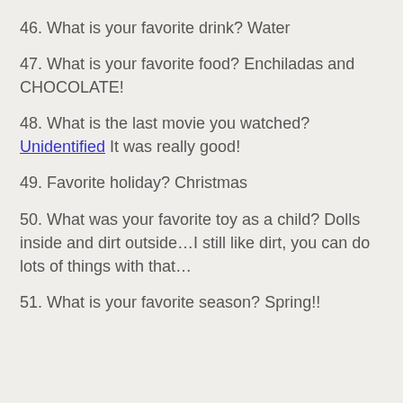46. What is your favorite drink? Water
47. What is your favorite food? Enchiladas and CHOCOLATE!
48. What is the last movie you watched? Unidentified It was really good!
49. Favorite holiday? Christmas
50. What was your favorite toy as a child? Dolls inside and dirt outside…I still like dirt, you can do lots of things with that…
51. What is your favorite season? Spring!!